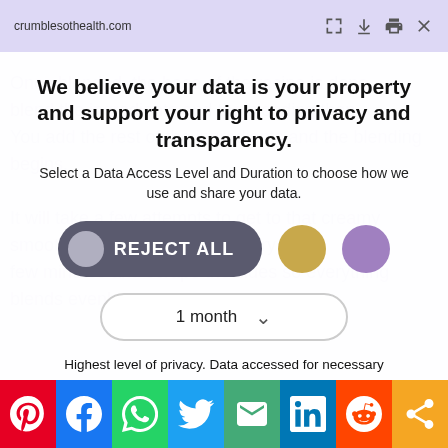crumblesohealth.com
We believe your data is your property and support your right to privacy and transparency.
Select a Data Access Level and Duration to choose how we use and share your data.
REJECT ALL
1 month
Highest level of privacy. Data accessed for necessary basic operations only. Data shared with 3rd parties to ensure the site is secure and works on your device
Save my preferences